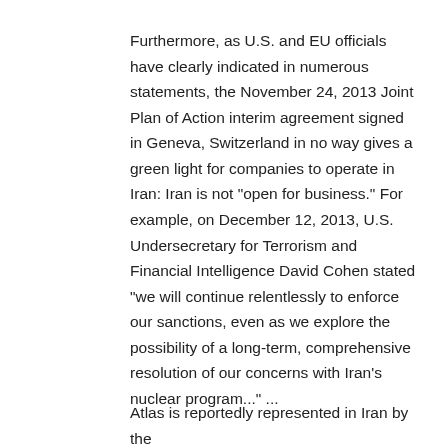Furthermore, as U.S. and EU officials have clearly indicated in numerous statements, the November 24, 2013 Joint Plan of Action interim agreement signed in Geneva, Switzerland in no way gives a green light for companies to operate in Iran: Iran is not "open for business." For example, on December 12, 2013, U.S. Undersecretary for Terrorism and Financial Intelligence David Cohen stated "we will continue relentlessly to enforce our sanctions, even as we explore the possibility of a long-term, comprehensive resolution of our concerns with Iran's nuclear program..." ...
Atlas is reportedly represented in Iran by the